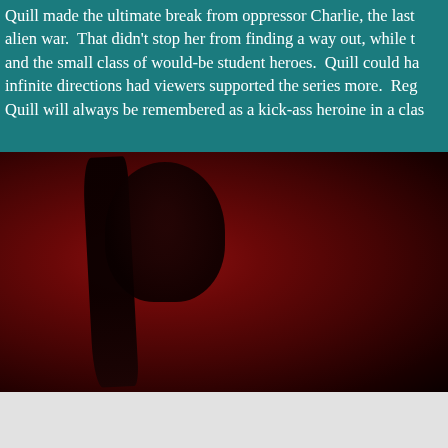Quill made the ultimate break from oppressor Charlie, the last alien war.  That didn't stop her from finding a way out, while t and the small class of would-be student heroes.  Quill could ha infinite directions had viewers supported the series more.  Reg Quill will always be remembered as a kick-ass heroine in a clas
[Figure (photo): Dark red-toned photo of a woman with long dark hair, lit dramatically against a deep red background, face partially visible in shadow]
ADVERTISEMENTS
[Figure (screenshot): Advertisement banner: dark navy background with a white circle icon containing a person/tree symbol, teal text reading 'Turn your blog into a money-making online course.' with a right arrow]